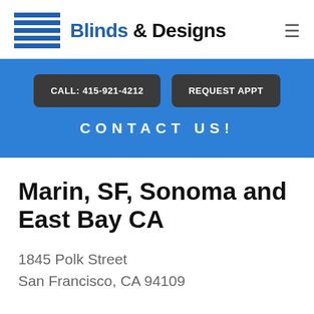[Figure (logo): Blinds & Designs logo with horizontal blue lines icon and text]
CALL: 415-921-4212
REQUEST APPT
CONTACT US!
Marin, SF, Sonoma and East Bay CA
1845 Polk Street
San Francisco, CA 94109